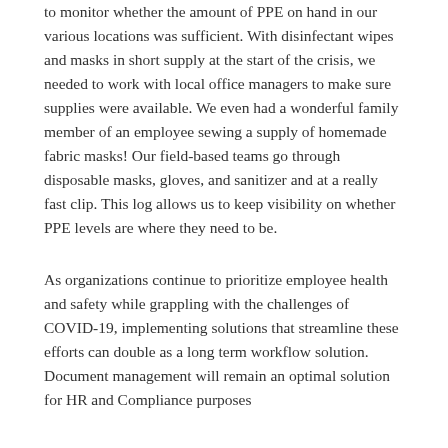to monitor whether the amount of PPE on hand in our various locations was sufficient. With disinfectant wipes and masks in short supply at the start of the crisis, we needed to work with local office managers to make sure supplies were available. We even had a wonderful family member of an employee sewing a supply of homemade fabric masks! Our field-based teams go through disposable masks, gloves, and sanitizer and at a really fast clip. This log allows us to keep visibility on whether PPE levels are where they need to be.
As organizations continue to prioritize employee health and safety while grappling with the challenges of COVID-19, implementing solutions that streamline these efforts can double as a long term workflow solution. Document management will remain an optimal solution for HR and Compliance purposes